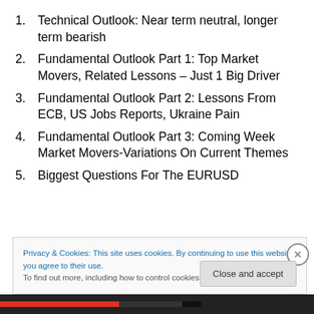1. Technical Outlook: Near term neutral, longer term bearish
2. Fundamental Outlook Part 1: Top Market Movers, Related Lessons – Just 1 Big Driver
3. Fundamental Outlook Part 2: Lessons From ECB, US Jobs Reports, Ukraine Pain
4. Fundamental Outlook Part 3: Coming Week Market Movers-Variations On Current Themes
5. Biggest Questions For The EURUSD
Privacy & Cookies: This site uses cookies. By continuing to use this website, you agree to their use. To find out more, including how to control cookies, see here: Cookie Policy